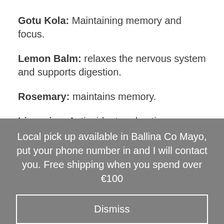Gotu Kola: Maintaining memory and focus.
Lemon Balm: relaxes the nervous system and supports digestion.
Rosemary: maintains memory.
Liquorice: Antioxidant and anti inflammatory, supports stress management.
Ginger: Helps with digestion and is anti inflammatory.
Local pick up available in Ballina Co Mayo, put your phone number in and I will contact you. Free shipping when you spend over €100
Dismiss